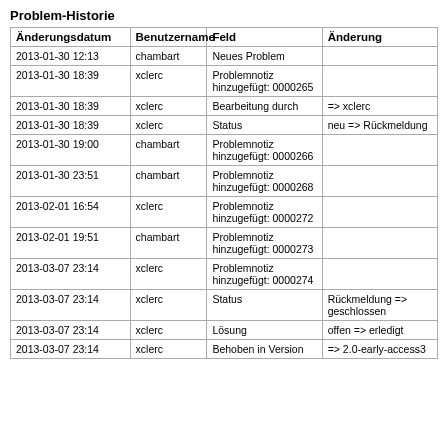Problem-Historie
| Änderungsdatum | Benutzername | Feld | Änderung |
| --- | --- | --- | --- |
| 2013-01-30 12:13 | chambart | Neues Problem |  |
| 2013-01-30 18:39 | xclerc | Problemnotiz hinzugefügt: 0000265 |  |
| 2013-01-30 18:39 | xclerc | Bearbeitung durch | => xclerc |
| 2013-01-30 18:39 | xclerc | Status | neu => Rückmeldung |
| 2013-01-30 19:00 | chambart | Problemnotiz hinzugefügt: 0000266 |  |
| 2013-01-30 23:51 | chambart | Problemnotiz hinzugefügt: 0000268 |  |
| 2013-02-01 16:54 | xclerc | Problemnotiz hinzugefügt: 0000272 |  |
| 2013-02-01 19:51 | chambart | Problemnotiz hinzugefügt: 0000273 |  |
| 2013-03-07 23:14 | xclerc | Problemnotiz hinzugefügt: 0000274 |  |
| 2013-03-07 23:14 | xclerc | Status | Rückmeldung => geschlossen |
| 2013-03-07 23:14 | xclerc | Lösung | offen => erledigt |
| 2013-03-07 23:14 | xclerc | Behoben in Version | => 2.0-early-access3 |